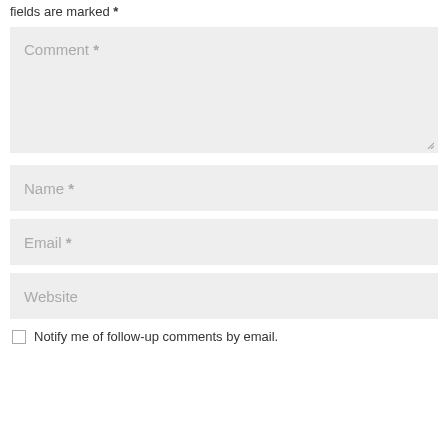fields are marked *
[Figure (screenshot): Comment textarea input field with placeholder text 'Comment *' and resize handle at bottom right]
[Figure (screenshot): Name text input field with placeholder text 'Name *']
[Figure (screenshot): Email text input field with placeholder text 'Email *']
[Figure (screenshot): Website text input field with placeholder text 'Website']
Notify me of follow-up comments by email.